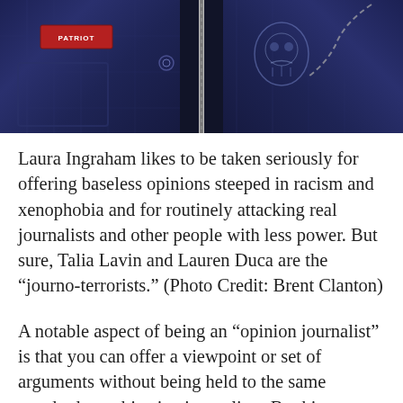[Figure (photo): Close-up photo of dark denim jackets/vests — one on the left with a red patch/badge visible, one on the right with chain and embroidered emblem detail. A zipper runs down the center between them. Dark blue-black tones.]
Laura Ingraham likes to be taken seriously for offering baseless opinions steeped in racism and xenophobia and for routinely attacking real journalists and other people with less power. But sure, Talia Lavin and Lauren Duca are the “journo-terrorists.” (Photo Credit: Brent Clanton)
A notable aspect of being an “opinion journalist” is that you can offer a viewpoint or set of arguments without being held to the same standards as objective journalists. By this